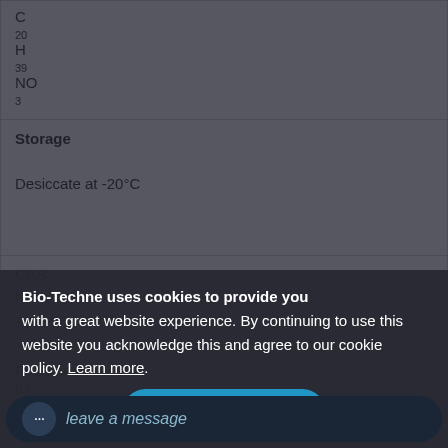| C
20
H
39
NO
3 |
| Storage | Desiccate at -20°C |
| CAS Number | 3102-57-6 |
| PubChem ID | 5497136 |
Bio-Techne uses cookies to provide you with a great website experience. By continuing to use this website you acknowledge this and agree to our cookie policy. Learn more.